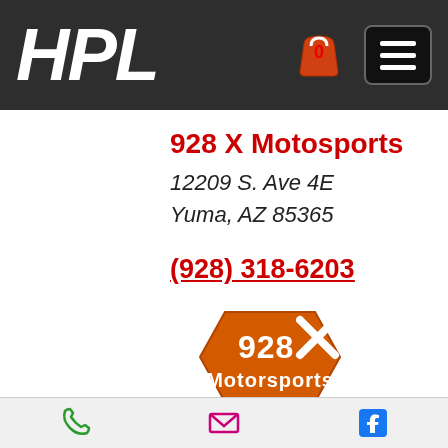HPL
928 X Motosports
12209 S. Ave 4E
Yuma, AZ 85365
(928) 318-6203
[Figure (logo): 928 X Motorsports orange hexagon-shaped logo with white text]
928xmotorsports.com
928xmotorsports@gmail.com
California
Phone | Email | Facebook icons toolbar